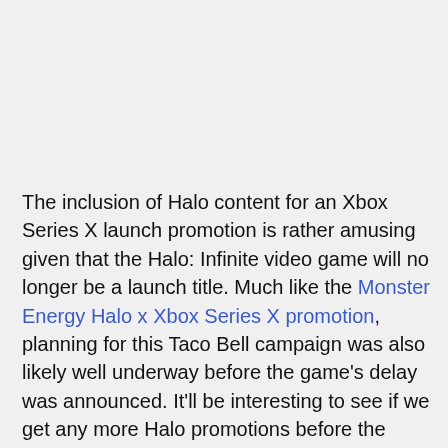The inclusion of Halo content for an Xbox Series X launch promotion is rather amusing given that the Halo: Infinite video game will no longer be a launch title. Much like the Monster Energy Halo x Xbox Series X promotion, planning for this Taco Bell campaign was also likely well underway before the game's delay was announced. It'll be interesting to see if we get any more Halo promotions before the end of the...